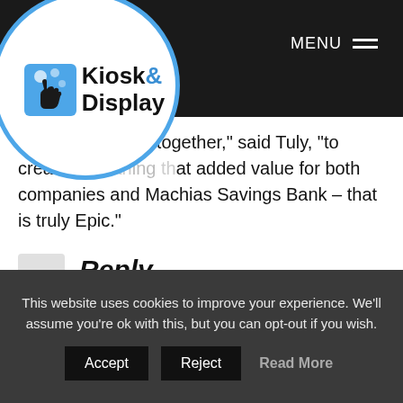Kiosk & Display — MENU
'Two… got together,' said Tuly, 'to create some… that added value for both companies and Machias Savings Bank – that is truly Epic.'
Reply
Your email address will not be published. Required fields are marked *
This website uses cookies to improve your experience. We'll assume you're ok with this, but you can opt-out if you wish. Accept Reject Read More